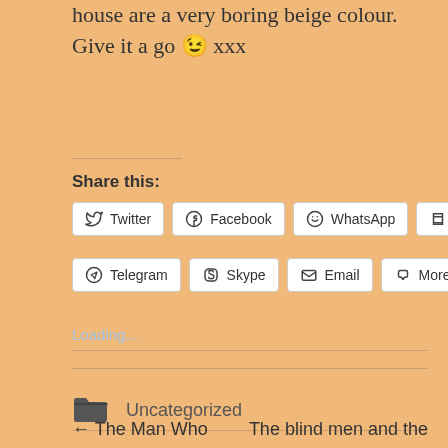house are a very boring beige colour. Give it a go 😉 xxx
Share this:
[Figure (infographic): Social sharing buttons row 1: Twitter, Facebook, WhatsApp, Print]
[Figure (infographic): Social sharing buttons row 2: Telegram, Skype, Email, More]
Loading...
📁 Uncategorized
← The Man Who
The blind men and the